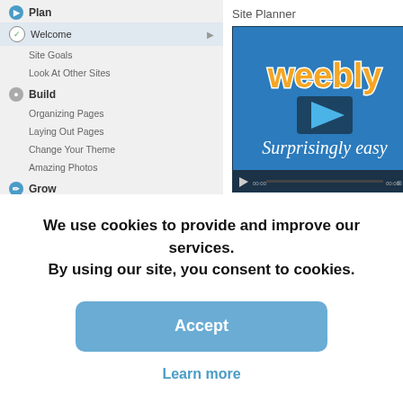Site Planner
Plan
Welcome
Site Goals
Look At Other Sites
Build
Organizing Pages
Laying Out Pages
Change Your Theme
Amazing Photos
Grow
Pick A Domain
Publish
[Figure (screenshot): Weebly website builder video thumbnail showing 'weebly' logo in orange and 'Surprisingly easy' text on blue background with play button]
Welcome!
Congratulations on taking the leap to start your site!
We use cookies to provide and improve our services. By using our site, you consent to cookies.
Accept
Learn more